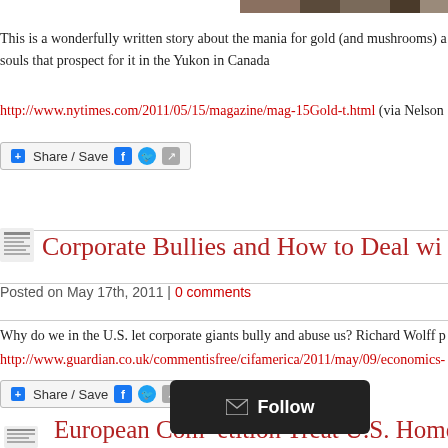[Figure (photo): Partial image at top of page, cropped]
This is a wonderfully written story about the mania for gold (and mushrooms) a souls that prospect for it in the Yukon in Canada
http://www.nytimes.com/2011/05/15/magazine/mag-15Gold-t.html (via Nelson
[Figure (other): Share / Save button with Facebook and Twitter icons]
Corporate Bullies and How to Deal with T
Posted on May 17th, 2011 | 0 comments
Why do we in the U.S. let corporate giants bully and abuse us? Richard Wolff p
http://www.guardian.co.uk/commentisfree/cifamerica/2011/may/09/economics-
[Figure (other): Share / Save button with Facebook and Twitter icons]
European Companies Treat U.S. Homeo Workers Like